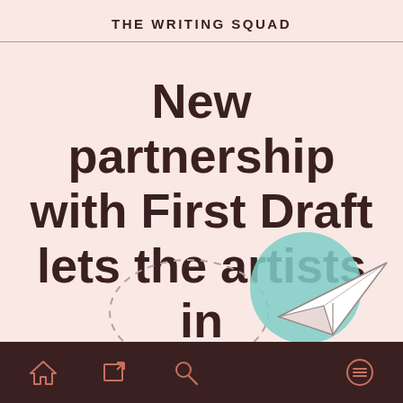THE WRITING SQUAD
New partnership with First Draft lets the artists in
[Figure (illustration): Decorative illustration at bottom: dashed oval outline on left and a teal/mint circle with a paper airplane on the right side]
Navigation bar with home, share, search, and menu icons